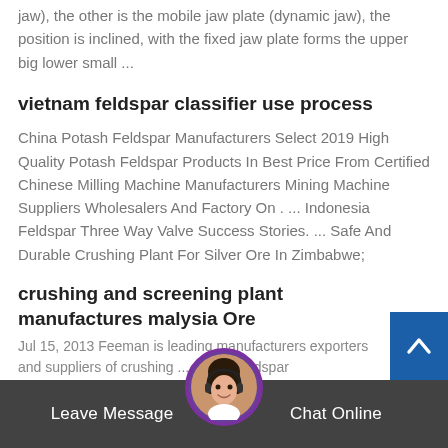jaw), the other is the mobile jaw plate (dynamic jaw), the position is inclined, with the fixed jaw plate forms the upper big lower small ...
vietnam feldspar classifier use process
China Potash Feldspar Manufacturers Select 2019 High Quality Potash Feldspar Products In Best Price From Certified Chinese Milling Machine Manufacturers Mining Machine Suppliers Wholesalers And Factory On . ... Indonesia Feldspar Three Way Valve Success Stories. ... Safe And Durable Crushing Plant For Silver Ore In Zimbabwe;
crushing and screening plant manufactures malysia Ore
Jul 15, 2013 Feeman is leading manufacturers exporters and suppliers of crushing ... potash feldspar
Leave Message
Chat Online